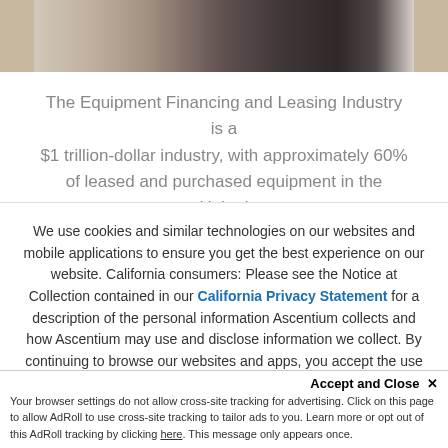[Figure (photo): Partial photo of a person in a business setting with charts/graphs visible in the background]
The Equipment Financing and Leasing Industry is a $1 trillion-dollar industry, with approximately 60% of leased and purchased equipment in the United
We use cookies and similar technologies on our websites and mobile applications to ensure you get the best experience on our website. California consumers: Please see the Notice at Collection contained in our California Privacy Statement for a description of the personal information Ascentium collects and how Ascentium may use and disclose information we collect. By continuing to browse our websites and apps, you accept the use of cookies. Learn more.
Accept and Close ✕
Your browser settings do not allow cross-site tracking for advertising. Click on this page to allow AdRoll to use cross-site tracking to tailor ads to you. Learn more or opt out of this AdRoll tracking by clicking here. This message only appears once.